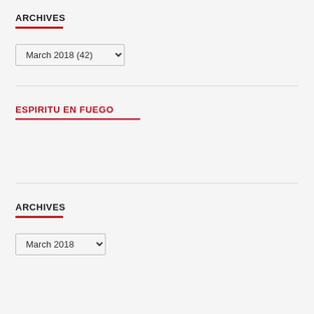ARCHIVES
March 2018 (42) [dropdown]
ESPIRITU EN FUEGO
ARCHIVES
March 2018 [dropdown]